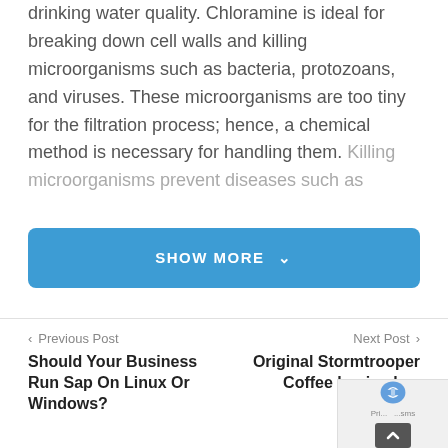drinking water quality. Chloramine is ideal for breaking down cell walls and killing microorganisms such as bacteria, protozoans, and viruses. These microorganisms are too tiny for the filtration process; hence, a chemical method is necessary for handling them. Killing microorganisms prevent diseases such as
[Figure (other): A blue rounded button labeled SHOW MORE with a downward chevron arrow]
< Previous Post
Next Post >
Should Your Business Run Sap On Linux Or Windows?
Original Stormtrooper Coffee begins la... countd...